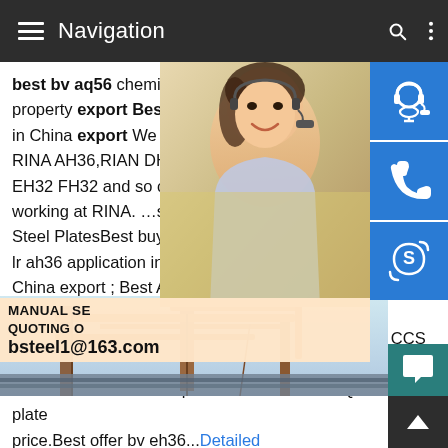Navigation
best bv aq56 chemical property export. b property export Best GL FH36 chemical p in China export We are the large export i RINA AH36,RIAN DH36,RINA EH36,RINA EH32 FH32 and so on.2018111 RINA Link working at RINA. …sp.infoOffer RMRS AQ Steel PlatesBest buy astm a131 aq56 exp lr ah36 application in china .RMRS FQ56 n China export ; Best ABS EQ51 application strength ship building steel plate China Ho Ah32,Dh32,Eh32 Qualified by ABS Gl BV Dnv Rina CCS Lr,Find details about China Ship Plate Offer RMRS AQ56 steel plate price.Best offer bv eh36...Detailed
[Figure (photo): Customer service representative woman with headset, smiling]
[Figure (infographic): Three blue customer service icon buttons: headset/support, phone, Skype]
[Figure (infographic): Manual service quoting overlay with email bsteel1@163.com]
[Figure (photo): Industrial steel plant or crane structure photo at bottom]
[Figure (infographic): Bottom right: teal chat bubble icon and dark up-arrow icon]